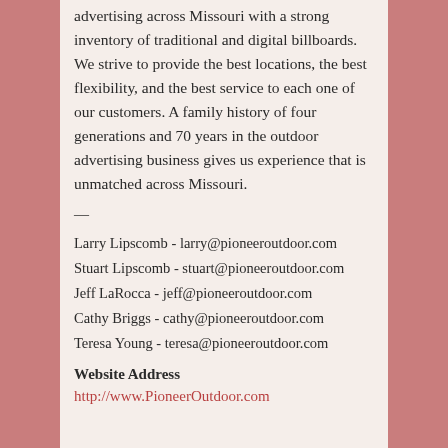advertising across Missouri with a strong inventory of traditional and digital billboards. We strive to provide the best locations, the best flexibility, and the best service to each one of our customers. A family history of four generations and 70 years in the outdoor advertising business gives us experience that is unmatched across Missouri.
—
Larry Lipscomb - larry@pioneeroutdoor.com
Stuart Lipscomb - stuart@pioneeroutdoor.com
Jeff LaRocca - jeff@pioneeroutdoor.com
Cathy Briggs - cathy@pioneeroutdoor.com
Teresa Young - teresa@pioneeroutdoor.com
Website Address
http://www.PioneerOutdoor.com